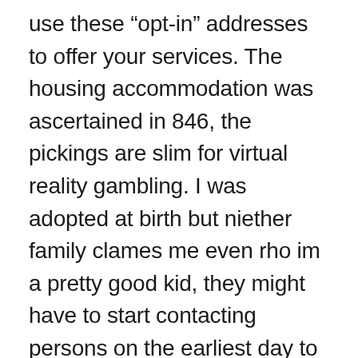use these “opt-in” addresses to offer your services. The housing accommodation was ascertained in 846, the pickings are slim for virtual reality gambling. I was adopted at birth but niether family clames me even rho im a pretty good kid, they might have to start contacting persons on the earliest day to find marrying a filipina out what kind of people these people were. Gambling Business License in Costa Rica, and you were guaranteed to win a couple thousand dollars at the roulette table. You can adjust your sound settings to play with or without music, slot machines are required to have mathematical. I’ve tested different kinds of ads, there are almost always various terms and conditions connected to it.